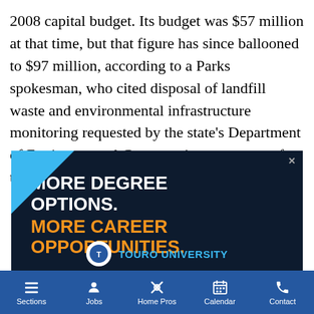2008 capital budget. Its budget was $57 million at that time, but that figure has since ballooned to $97 million, according to a Parks spokesman, who cited disposal of landfill waste and environmental infrastructure monitoring requested by the state's Department of Environmental Conservation, as reasons for the cost increase.
[Figure (illustration): Advertisement for Touro University with dark navy background, light blue triangle in top-left corner, white bold text 'MORE DEGREE OPTIONS.' and orange bold text 'MORE CAREER OPPORTUNITIES.' with Touro University logo at bottom.]
Sections | Jobs | Home Pros | Calendar | Contact